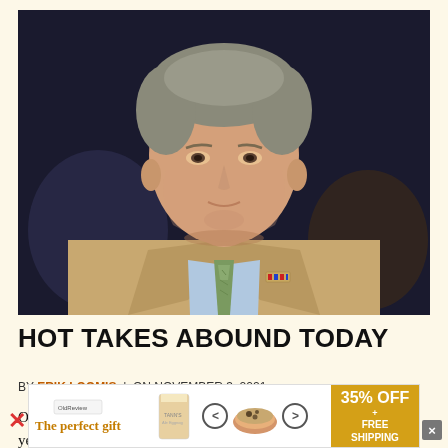[Figure (photo): Photograph of a middle-aged man with gray hair wearing a tan/khaki suit jacket, light blue dress shirt, and green patterned tie, looking upward slightly against a dark blurred background.]
HOT TAKES ABOUND TODAY
BY ERIK LOOMIS | ON NOVEMBER 3, 2021
Of course, every pundit, no matter their political position, finds yesterday's elections reinforces their preconceived view of th
[Figure (infographic): Advertisement banner: 'The perfect gift' with food product images, navigation arrows, and '35% OFF + FREE SHIPPING' offer in yellow-orange background.]